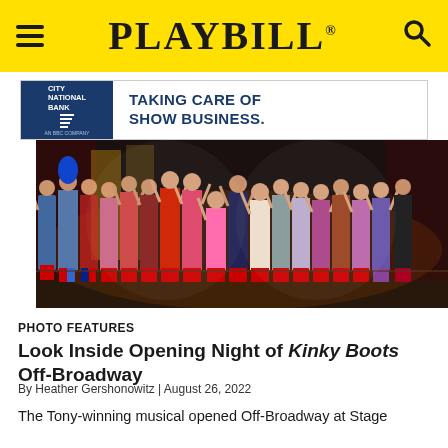PLAYBILL
[Figure (screenshot): City National Bank advertisement banner: 'TAKING CARE OF SHOW BUSINESS.']
[Figure (photo): Cast of Kinky Boots on stage, arms raised in celebration, wearing colorful costumes including red thigh-high boots, Union Jack outfits, and blue wigs, during their curtain call.]
PHOTO FEATURES
Look Inside Opening Night of Kinky Boots Off-Broadway
By Heather Gershonowitz | August 26, 2022
The Tony-winning musical opened Off-Broadway at Stage